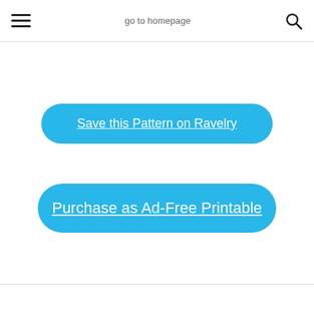go to homepage
Save this Pattern on Ravelry
Purchase as Ad-Free Printable